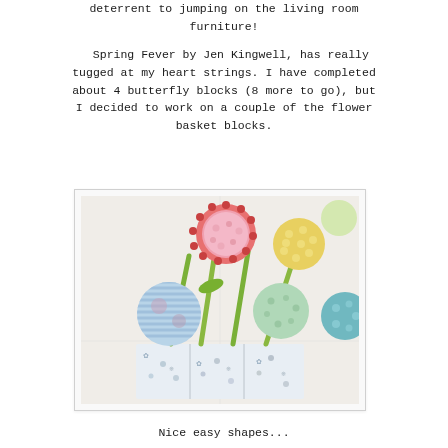deterrent to jumping on the living room furniture!
Spring Fever by Jen Kingwell, has really tugged at my heart strings. I have completed about 4 butterfly blocks (8 more to go), but I decided to work on a couple of the flower basket blocks.
[Figure (photo): A quilt block showing flower baskets with circular fabric flowers in pink, yellow, and green on white fabric, with a floral basket at the bottom.]
Nice easy shapes...